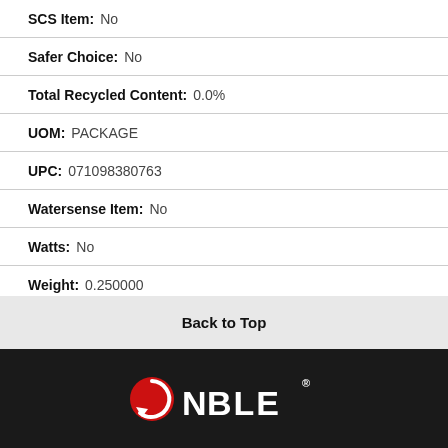SCS Item: No
Safer Choice: No
Total Recycled Content: 0.0%
UOM: PACKAGE
UPC: 071098380763
Watersense Item: No
Watts: No
Weight: 0.250000
Back to Top
[Figure (logo): Noble company logo in white text on black background with red circular arrow icon]